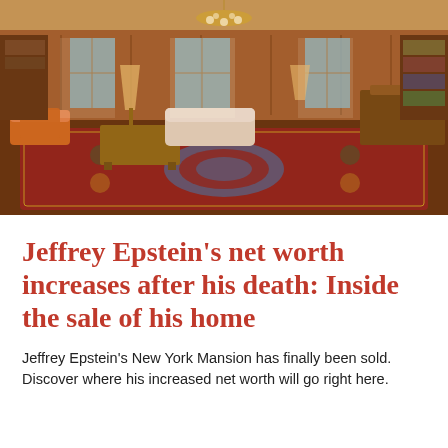[Figure (photo): Interior photo of a lavish, ornate mansion room with wood-paneled walls, tall windows, a chandelier, Persian rugs, antique furniture including sofas, armchairs, and wooden desks, with warm golden lighting.]
Jeffrey Epstein's net worth increases after his death: Inside the sale of his home
Jeffrey Epstein's New York Mansion has finally been sold. Discover where his increased net worth will go right here.